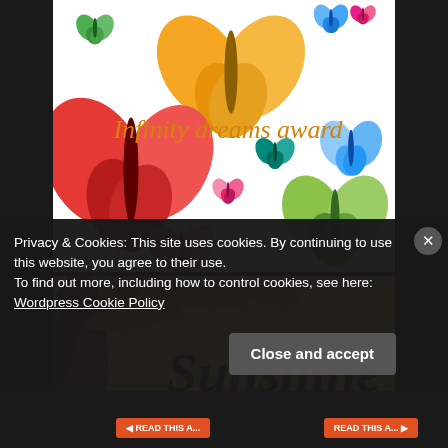[Figure (illustration): Infinity dreams award image with colorful butterflies (red, orange, pink, green, blue, teal) on white background with italic orange text 'Infinity dreams award']
[Figure (illustration): Sunflower close-up image in yellow/orange tones with bold italic black text 'Sunshine' overlaid on the right]
Privacy & Cookies: This site uses cookies. By continuing to use this website, you agree to their use.
To find out more, including how to control cookies, see here: Wordpress Cookie Policy
Close and accept